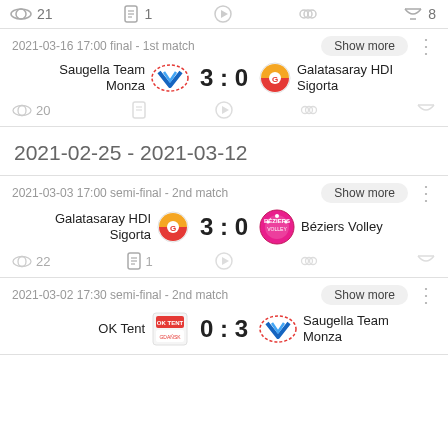21  1  (play)  (group)  8
2021-03-16 17:00 final - 1st match
Saugella Team Monza 3 : 0 Galatasaray HDI Sigorta
20
2021-02-25 - 2021-03-12
2021-03-03 17:00 semi-final - 2nd match
Galatasaray HDI Sigorta 3 : 0 Béziers Volley
22  1
2021-03-02 17:30 semi-final - 2nd match
OK Tent 0 : 3 Saugella Team Monza